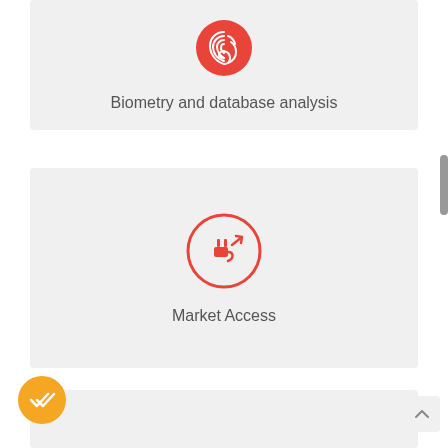[Figure (infographic): Card with red fingerprint icon in a circle and label 'Biometry and database analysis']
Biometry and database analysis
[Figure (infographic): Card with red plug/power icon with arrow in a circle and label 'Market Access']
Market Access
[Figure (other): Yellow circular FAB button with double checkmark icon at bottom left]
[Figure (other): Back-to-top arrow button at bottom right]